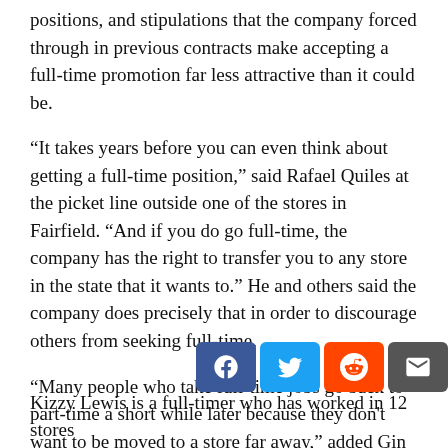positions, and stipulations that the company forced through in previous contracts make accepting a full-time promotion far less attractive than it could be.
“It takes years before you can even think about getting a full-time position,” said Rafael Quiles at the picket line outside one of the stores in Fairfield. “And if you do go full-time, the company has the right to transfer you to any store in the state that it wants to.” He and others said the company does precisely that in order to discourage others from seeking full-time.
“Many people who take full-time jobs go back to part-time a short while later because they don't want to be moved to a store far away,” added Gin Palladino, a ten-year veteran who lives just a few blocks from the store where she works. “I'd rather work part-time here and get another part-time job close to home than have to travel a long distance to work full-time.”
Kizzy Lewis is a full-timer who has worked in 12 stores